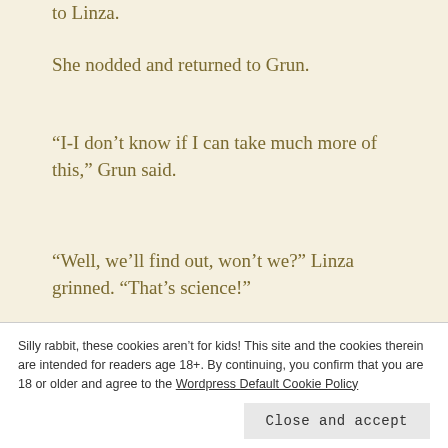to Linza.
She nodded and returned to Grun.
“I-I don’t know if I can take much more of this,” Grun said.
“Well, we’ll find out, won’t we?” Linza grinned. “That’s science!”
Grun gulped. “Yay… science…”
Silly rabbit, these cookies aren’t for kids! This site and the cookies therein are intended for readers age 18+. By continuing, you confirm that you are 18 or older and agree to the Wordpress Default Cookie Policy
base. The feather towards his skin